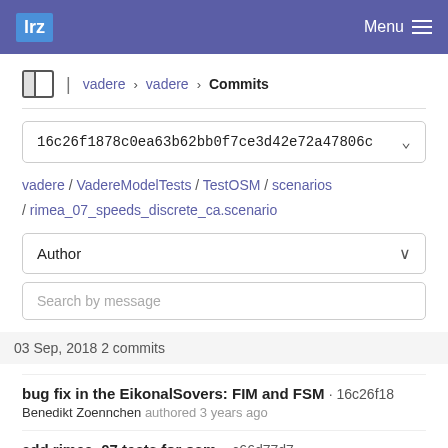lrz  Menu
vadere › vadere › Commits
16c26f1878c0ea63b62bb0f7ce3d42e72a47806c
vadere / VadereModelTests / TestOSM / scenarios / rimea_07_speeds_discrete_ca.scenario
Author
Search by message
03 Sep, 2018 2 commits
bug fix in the EikonalSovers: FIM and FSM · 16c26f18
Benedikt Zoennchen authored 3 years ago
add rimea_07 tests for osm. · c66d77d7